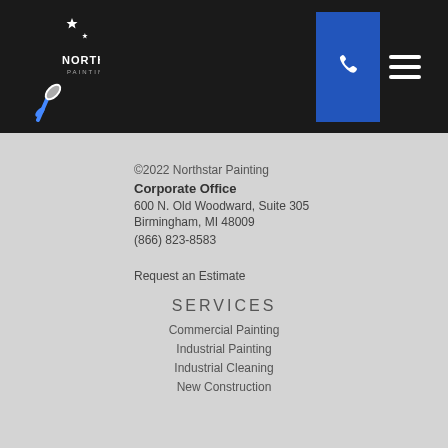[Figure (logo): Northstar Painting logo with crescent moon, stars, and paint brush, white and blue on black background]
©2022 Northstar Painting
Corporate Office
600 N. Old Woodward, Suite 305
Birmingham, MI 48009
(866) 823-8583
Request an Estimate
SERVICES
Commercial Painting
Industrial Painting
Industrial Cleaning
New Construction